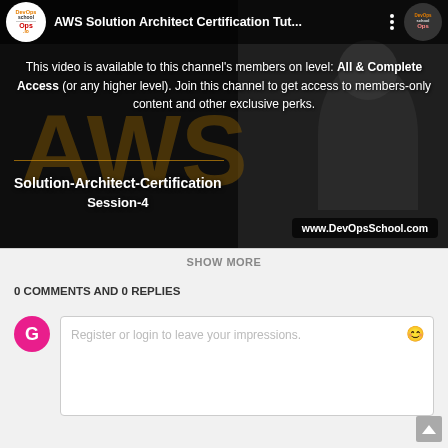[Figure (screenshot): YouTube video thumbnail for AWS Solution Architect Certification Tutorial - Session 4 by DevOpsSchool. Shows a membership-only video overlay message with text about channel membership requirements. Bottom left shows 'Solution-Architect-Certification Session-4' text. DevOpsSchool logo in top left. Website badge 'www.DevOpsSchool.com' in bottom right.]
AWS Solution Architect Certification Tut...
This video is available to this channel's members on level: All & Complete Access (or any higher level). Join this channel to get access to members-only content and other exclusive perks.
Solution-Architect-Certification Session-4
www.DevOpsSchool.com
SHOW MORE
0 COMMENTS AND 0 REPLIES
Register or login to leave your impressions.